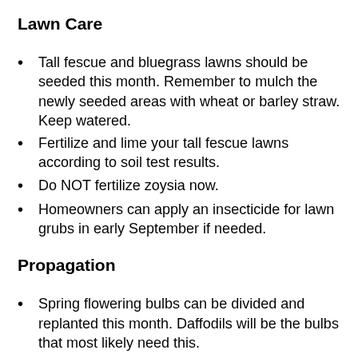Lawn Care
Tall fescue and bluegrass lawns should be seeded this month. Remember to mulch the newly seeded areas with wheat or barley straw. Keep watered.
Fertilize and lime your tall fescue lawns according to soil test results.
Do NOT fertilize zoysia now.
Homeowners can apply an insecticide for lawn grubs in early September if needed.
Propagation
Spring flowering bulbs can be divided and replanted this month. Daffodils will be the bulbs that most likely need this.